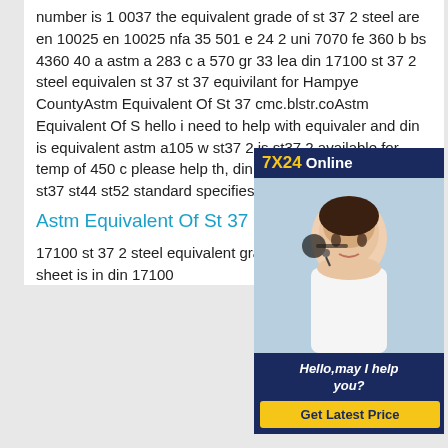number is 1 0037 the equivalent grade of st 37 2 steel are en 10025 en 10025 nfa 35 501 e 24 2 uni 7070 fe 360 b bs 4360 40 a astm a 283 c a 570 gr 33 lea din 17100 st 37 2 steel equivalent st 37 st 37 equivilant for Hampye CountyAstm Equivalent Of St 37 cmc.blstr.coAstm Equivalent Of S hello i need to help with equivaler and din is equivalent astm a105 w st37 2 is st37 2 available for temp of 450 c please help th, din 1629 basic steel grades st37 st44 st52 standard specifies the
[Figure (photo): Advertisement box with '7X24 Online' header in yellow and white on dark blue background, photo of a woman with headset smiling, and 'Hello,may I help you?' text with 'Get Latest Price' yellow button on dark blue background.]
Astm Equivalent Of St 37 - cmc.blstr.co
17100 st 37 2 steel equivalent grade st 37 2 steel plate sheet is in din 17100